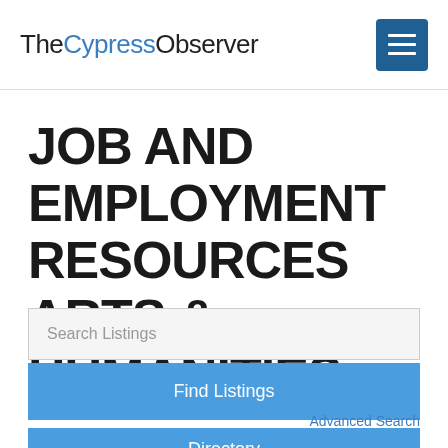TheCypressObserver
JOB AND EMPLOYMENT RESOURCES ARTS & HUMANITIES
Search Listings
Find Listings
Advanced Search
Directory